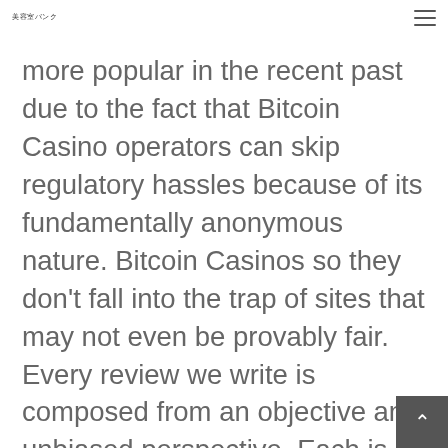美容室バンク
more popular in the recent past due to the fact that Bitcoin Casino operators can skip regulatory hassles because of its fundamentally anonymous nature. Bitcoin Casinos so they don't fall into the trap of sites that may not even be provably fair. Every review we write is composed from an objective and unbiased perspective. Each is based on hands-on evaluation of the casino's performance according to the criteria we have identified as essential and desirable. Our goal is to give you a the information you need to choose you